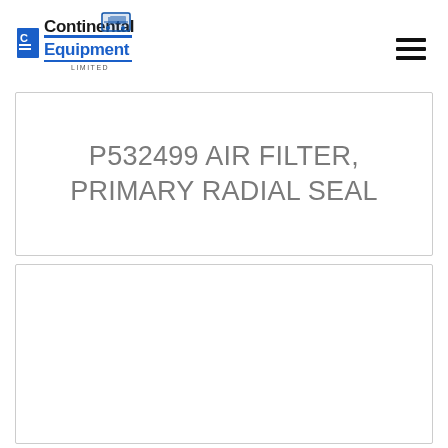[Figure (logo): Continental Equipment Limited logo with blue text and bulldozer icon]
P532499 AIR FILTER, PRIMARY RADIAL SEAL
[Figure (photo): Empty white product image card placeholder]